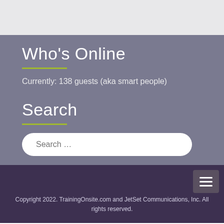Who’s Online
Currently: 138 guests (aka smart people)
Search
[Figure (other): Search input box with placeholder text 'Search ...']
Copyright 2022. TrainingOnsite.com and JetSet Communications, Inc. All rights reserved.